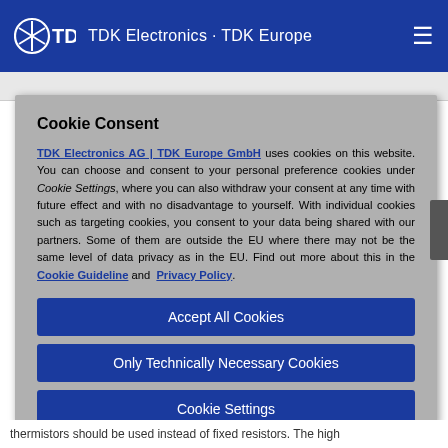TDK Electronics · TDK Europe
Cookie Consent
TDK Electronics AG | TDK Europe GmbH uses cookies on this website. You can choose and consent to your personal preference cookies under Cookie Settings, where you can also withdraw your consent at any time with future effect and with no disadvantage to yourself. With individual cookies such as targeting cookies, you consent to your data being shared with our partners. Some of them are outside the EU where there may not be the same level of data privacy as in the EU. Find out more about this in the Cookie Guideline and Privacy Policy.
Accept All Cookies
Only Technically Necessary Cookies
Cookie Settings
thermistors should be used instead of fixed resistors. The high